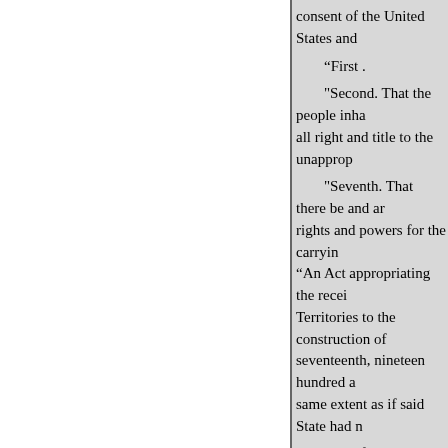consent of the United States and
“First .
"Second. That the people inha all right and title to the unapprop
"Seventh. That there be and ar rights and powers for the carryin “An Act appropriating the recei Territories to the construction of seventeenth, nineteen hundred a same extent as if said State had n
"All of which ordinance descr constitution that shall be formed future constitutional amendment without the consent of Congress.
75335456
27
“Provided, That said State, at relinquish such of its lands to the with any such government proje
“There is hereby reserved to t